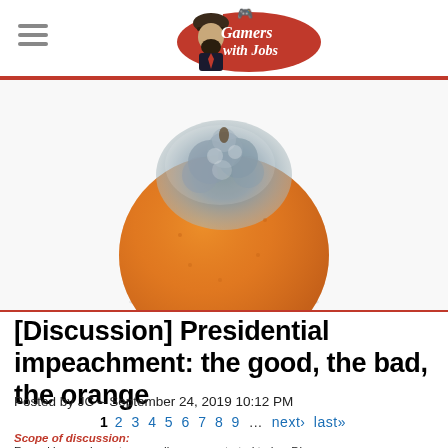Gamers with Jobs
[Figure (photo): A moldy orange fruit with blue-gray mold growing on the top, photographed against a white background.]
[Discussion] Presidential impeachment: the good, the bad, the orange
Posted by JC – September 24, 2019 10:12 PM
1 2 3 4 5 6 7 8 9 ... next› last»
Scope of discussion:
Formal impeachment proceedings were started today. Discuss.